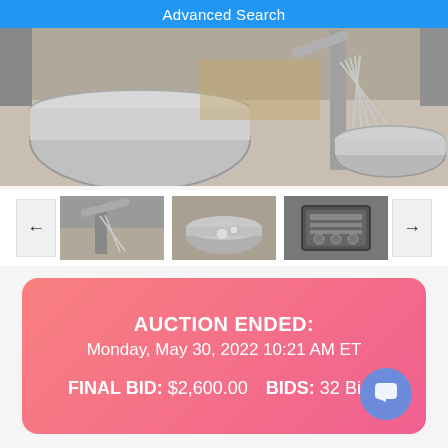Advanced Search
[Figure (photo): Industrial commercial mixer with stainless steel bowl and whisk attachment, photographed in a warehouse/kitchen setting]
[Figure (photo): Thumbnail 1: Side view of commercial mixer]
[Figure (photo): Thumbnail 2: Close-up of mixer attachment]
[Figure (photo): Thumbnail 3: Data plate/label on mixer]
AUCTION ENDED:
Monday, May 30, 2022 10:21 AM ET
FINAL BID: $2,600.00   BIDS: 32 Bids